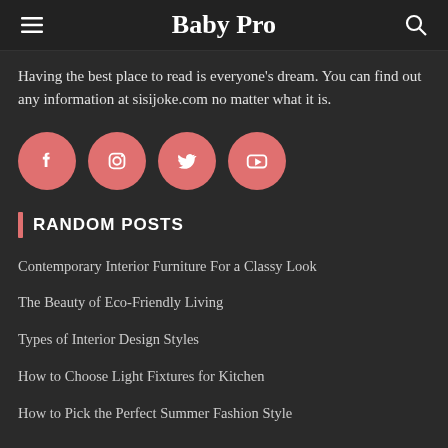Baby Pro
Having the best place to read is everyone's dream. You can find out any information at sisijoke.com no matter what it is.
[Figure (illustration): Four salmon/pink circular social media icon buttons: Facebook, Instagram, Twitter, YouTube]
RANDOM POSTS
Contemporary Interior Furniture For a Classy Look
The Beauty of Eco-Friendly Living
Types of Interior Design Styles
How to Choose Light Fixtures for Kitchen
How to Pick the Perfect Summer Fashion Style